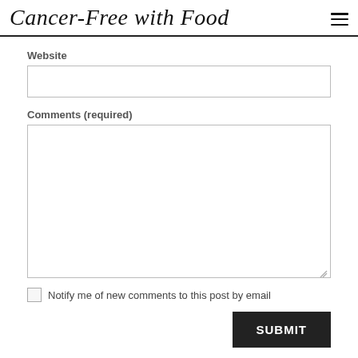Cancer-Free with Food
Website
Comments (required)
Notify me of new comments to this post by email
SUBMIT